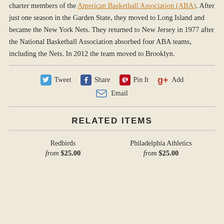charter members of the American Basketball Association (ABA). After just one season in the Garden State, they moved to Long Island and became the New York Nets. They returned to New Jersey in 1977 after the National Basketball Association absorbed four ABA teams, including the Nets. In 2012 the team moved to Brooklyn.
Tweet  Share  Pin It  Add  Email
RELATED ITEMS
Redbirds  from $25.00
Philadelphia Athletics  from $25.00